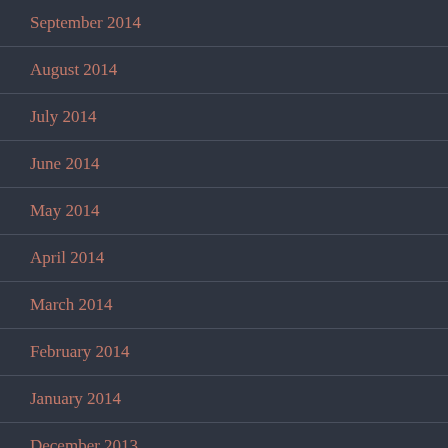September 2014
August 2014
July 2014
June 2014
May 2014
April 2014
March 2014
February 2014
January 2014
December 2013
November 2013
October 2013